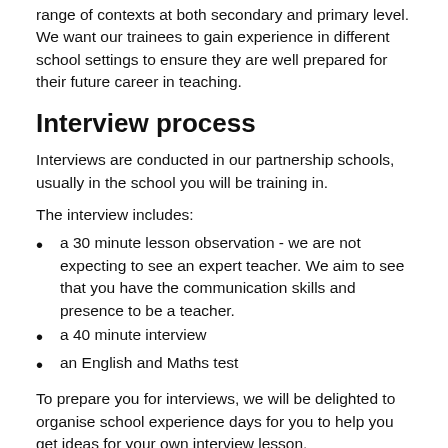range of contexts at both secondary and primary level. We want our trainees to gain experience in different school settings to ensure they are well prepared for their future career in teaching.
Interview process
Interviews are conducted in our partnership schools, usually in the school you will be training in.
The interview includes:
a 30 minute lesson observation - we are not expecting to see an expert teacher. We aim to see that you have the communication skills and presence to be a teacher.
a 40 minute interview
an English and Maths test
To prepare you for interviews, we will be delighted to organise school experience days for you to help you get ideas for your own interview lesson.